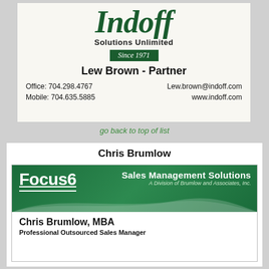[Figure (other): Indoff Solutions Unlimited business card for Lew Brown, Partner. Office: 704.298.4767, Mobile: 704.635.5885, Lew.brown@indoff.com, www.indoff.com. Since 1971.]
go back to top of list
Chris Brumlow
[Figure (other): Focus6 Sales Management Solutions – A Division of Brumlow and Associates, Inc. Chris Brumlow, MBA. Professional Outsourced Sales Manager.]